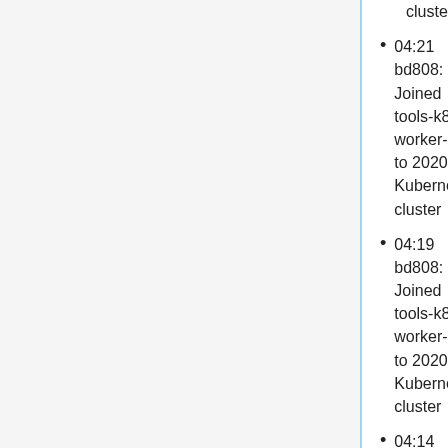cluster
04:21 bd808: Joined tools-k8s-worker-46 to 2020 Kubernetes cluster
04:19 bd808: Joined tools-k8s-worker-45 to 2020 Kubernetes cluster
04:14 bd808: Joined tools-k8s-worker-44 to 2020 Kubernetes cluster
04:13 bd808: Joined tools-k8s-worker-43 to 2020 Kubernetes cluster
04:12 bd808: Joined tools-k8s-worker-42 to 2020 Kubernetes cluster
04:10 bd808: Joined tools-k8s-worker-41 to 2020 Kubernetes cluster
04:09 bd808: Joined tools-k8s-...